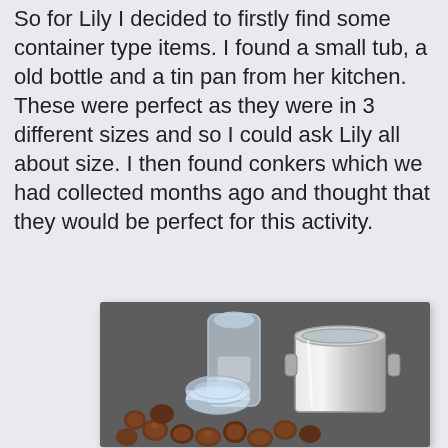So for Lily I decided to firstly find some container type items. I found a small tub, a old bottle and a tin pan from her kitchen. These were perfect as they were in 3 different sizes and so I could ask Lily all about size. I then found conkers which we had collected months ago and thought that they would be perfect for this activity.
[Figure (photo): Photo of three containers (a clear plastic bottle, a small round transparent tub, and a silver tin pan/pot) placed on a grey carpet, surrounded by scattered conkers (horse chestnuts).]